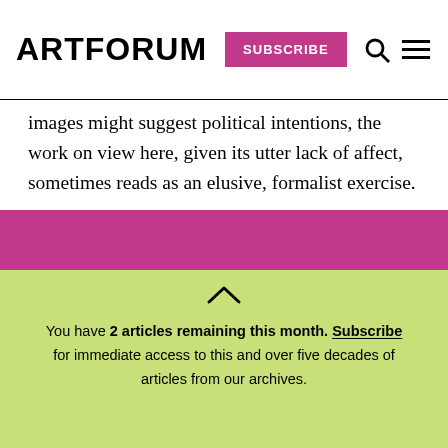ARTFORUM SUBSCRIBE
images might suggest political intentions, the work on view here, given its utter lack of affect, sometimes reads as an elusive, formalist exercise.
—Glen Helfand
You have 2 articles remaining this month. Subscribe for immediate access to this and over five decades of articles from our archives.